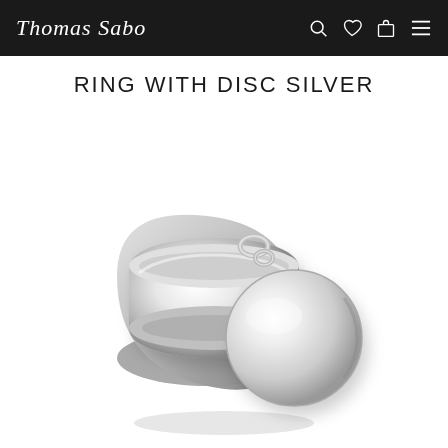Thomas Sabo
RING WITH DISC SILVER
[Figure (photo): Thomas Sabo silver ring with disc charm. A wide, polished silver band ring with a circular disc pendant attached at the top via a small loop/clasp. The disc hangs over the front of the band. High-gloss sterling silver finish. Shot on white background.]